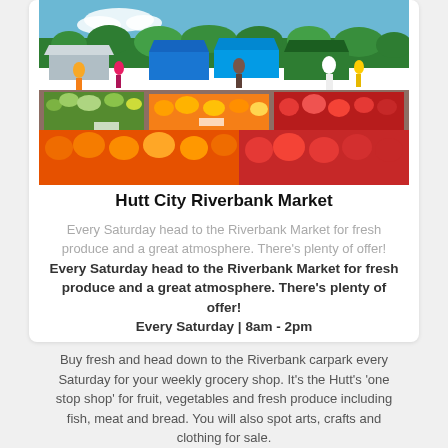[Figure (photo): Outdoor market scene with colorful fruit and vegetable stalls under blue sky with trees in background, crowds of people shopping]
Hutt City Riverbank Market
Every Saturday head to the Riverbank Market for fresh produce and a great atmosphere. There's plenty of offer! Every Saturday head to the Riverbank Market for fresh produce and a great atmosphere. There's plenty of offer! Every Saturday | 8am - 2pm
Buy fresh and head down to the Riverbank carpark every Saturday for your weekly grocery shop. It's the Hutt's 'one stop shop' for fruit, vegetables and fresh produce including fish, meat and bread. You will also spot arts, crafts and clothing for sale.